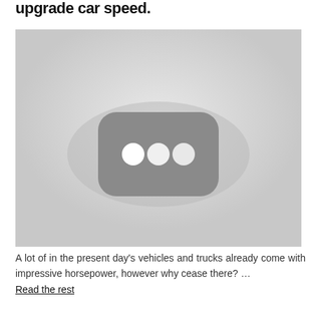upgrade car speed.
[Figure (photo): A grayscale image showing a small wireless device or router with a rounded rectangle shape, dark gray body and three white circular indicator lights/buttons on its face, set against a light gray background.]
A lot of in the present day's vehicles and trucks already come with impressive horsepower, however why cease there? … Read the rest